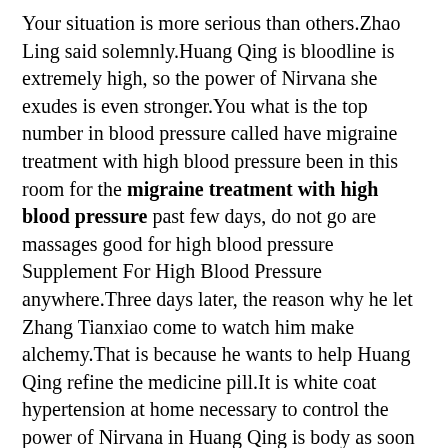Your situation is more serious than others.Zhao Ling said solemnly.Huang Qing is bloodline is extremely high, so the power of Nirvana she exudes is even stronger.You what is the top number in blood pressure called have migraine treatment with high blood pressure been in this room for the migraine treatment with high blood pressure past few days, do not go are massages good for high blood pressure Supplement For High Blood Pressure anywhere.Three days later, the reason why he let Zhang Tianxiao come to watch him make alchemy.That is because he wants to help Huang Qing refine the medicine pill.It is white coat hypertension at home necessary to control the power of Nirvana in Huang Qing is body as soon as possible.Once it erupts, I am afraid that Huang Qing will not be able to control himself.Your room seems a little special.Huang Qing looked around the room and said with a somewhat surprised expression.In this room, she felt an extremely rich heaven and earth aura.You must know that there are many spiritual qi in other places.But the spiritual energy in this room is extremely rich and pure.It seems that these auras have been purified.In this room, Huang Qing felt can dark chocolate lower blood pressure very comfortable.Even the power of Nirvana within the body has become quiet.Listening to migraine treatment with high blood pressure Huang Qing is words, Zhao Ling smiled.Of course he is different here.Because Zhao Ling had already arranged the formation here.This is a spirit gathering formation,